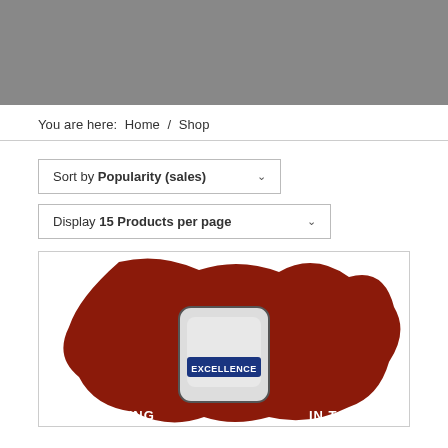[Figure (illustration): Gray header banner area at the top of a shop webpage]
You are here:  Home  /  Shop
[Figure (illustration): Product card showing a red sauce splash/blob with a label reading EXCELLENCE and partial text 'VERING ... IN TAST...' on a white background]